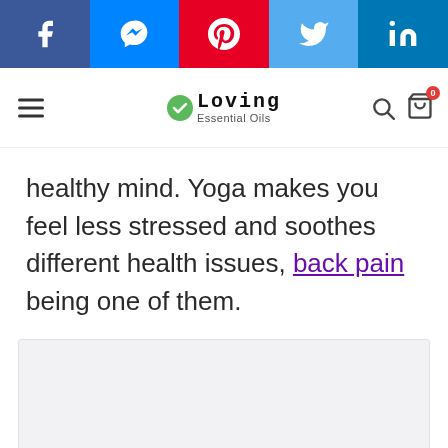Social share bar: Facebook, Messenger, Pinterest, Twitter, LinkedIn
Loving Essential Oils — navigation header
healthy mind. Yoga makes you feel less stressed and soothes different health issues, back pain being one of them.
[Figure (photo): Image placeholder — light gray rectangle below the body text]